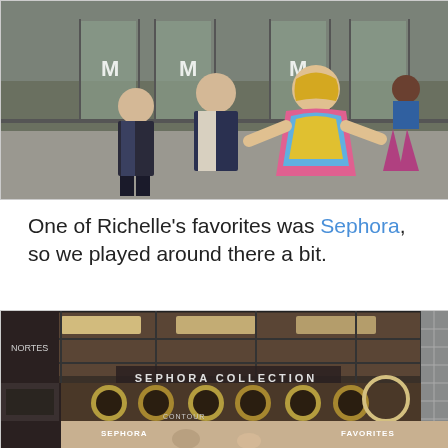[Figure (photo): Outdoor street scene photo showing three people in front of a building with large glass doors marked with 'M' logos. A woman in a colorful floral dress with blonde hair gestures with her arms outstretched. Two men in suits/casual clothing walk behind her. A woman in a patterned skirt is visible on the right side.]
One of Richelle’s favorites was Sephora, so we played around there a bit.
[Figure (photo): Indoor photo of a Sephora store with 'SEPHORA COLLECTION' signage visible on overhead display cases. Store interior shows cosmetics counters, product displays, and shoppers. Labels for SEPHORA and FAVORITES visible at bottom.]